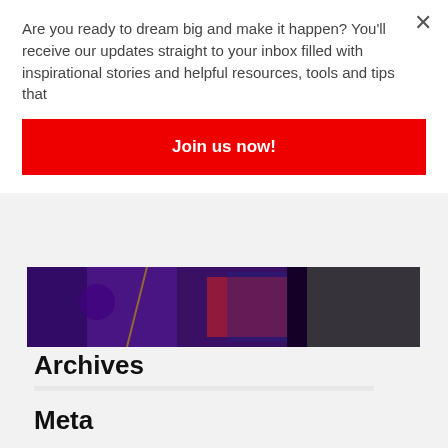Are you ready to dream big and make it happen? You'll receive our updates straight to your inbox filled with inspirational stories and helpful resources, tools and tips that
Join us now!
[Figure (photo): Dark colorful photo strip showing neon-lit hardware/tech scene with purple, blue, and red lighting]
Archives
Select Month
Meta
Log in
Entries feed